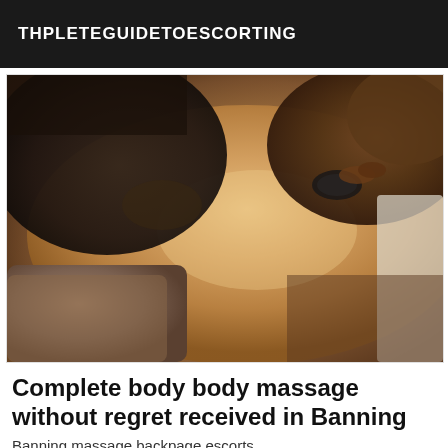THPLETEGUIDETOESCORTING
[Figure (photo): Person lying face down on a massage table receiving a hot stone massage from a therapist with dark hands, spa setting with towels]
Complete body body massage without regret received in Banning
Banning massage backpage escorts